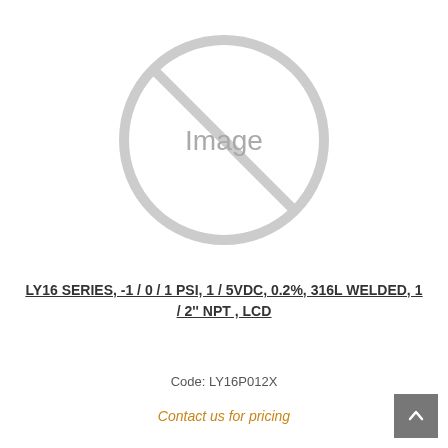[Figure (illustration): Placeholder image icon: a circle with a diagonal line through it, containing the text 'Image' in gray]
LY16 SERIES, -1 / 0 / 1 PSI, 1 / 5VDC, 0.2%, 316L WELDED, 1 / 2'' NPT , LCD
Code: LY16P012X
Contact us for pricing